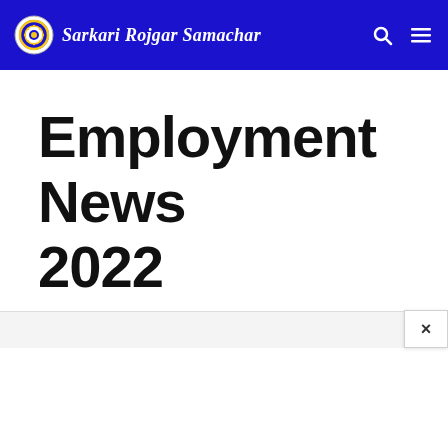Sarkari Rojgar Samachar
Employment News 2022